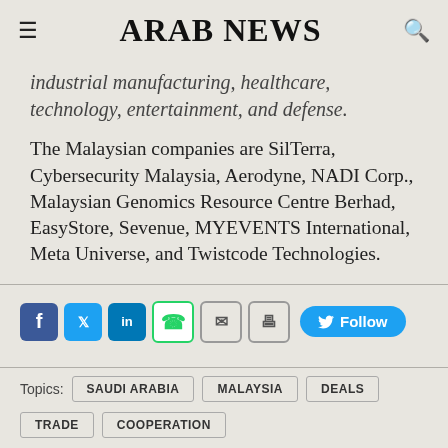ARAB NEWS
industrial manufacturing, healthcare, technology, entertainment, and defense.
The Malaysian companies are SilTerra, Cybersecurity Malaysia, Aerodyne, NADI Corp., Malaysian Genomics Resource Centre Berhad, EasyStore, Sevenue, MYEVENTS International, Meta Universe, and Twistcode Technologies.
[Figure (other): Social sharing icons row: Facebook, Twitter, LinkedIn, WhatsApp, Email, Print, and a Twitter Follow button]
Topics: SAUDI ARABIA  MALAYSIA  DEALS
TRADE  COOPERATION